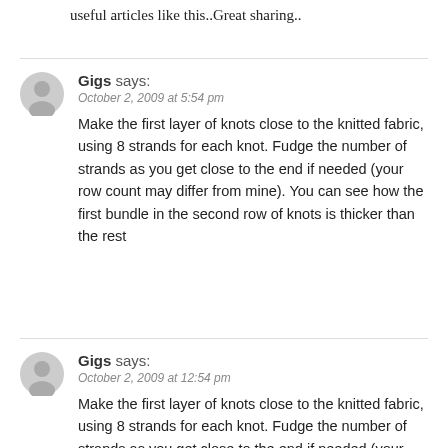useful articles like this..Great sharing..
Gigs says:
October 2, 2009 at 5:54 pm
Make the first layer of knots close to the knitted fabric, using 8 strands for each knot. Fudge the number of strands as you get close to the end if needed (your row count may differ from mine). You can see how the first bundle in the second row of knots is thicker than the rest
Gigs says:
October 2, 2009 at 12:54 pm
Make the first layer of knots close to the knitted fabric, using 8 strands for each knot. Fudge the number of strands as you get close to the end if needed (your row count may differ from mine). You